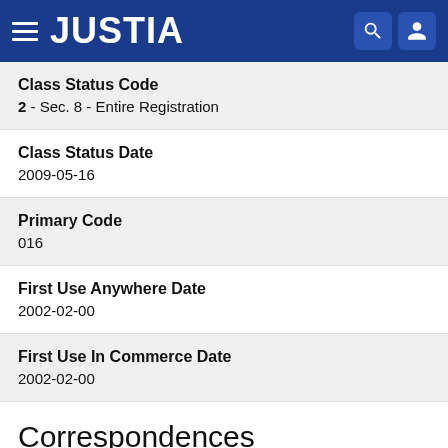JUSTIA
Class Status Code
2 - Sec. 8 - Entire Registration
Class Status Date
2009-05-16
Primary Code
016
First Use Anywhere Date
2002-02-00
First Use In Commerce Date
2002-02-00
Correspondences